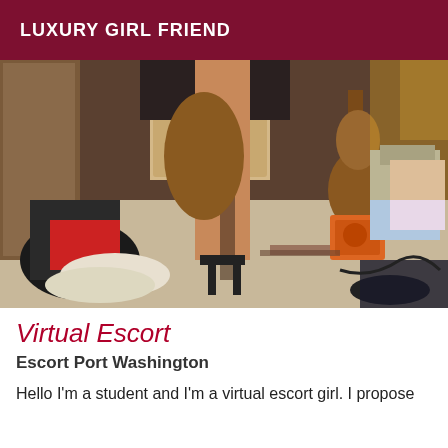LUXURY GIRL FRIEND
[Figure (photo): Photo of a person's legs in high heels standing in a messy bedroom with shoes, guitar, amp, and various items on the floor]
Virtual Escort
Escort Port Washington
Hello I'm a student and I'm a virtual escort girl. I propose